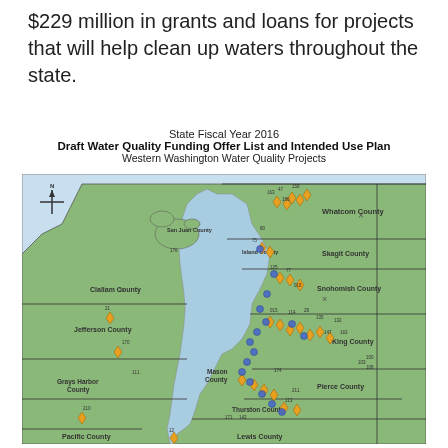$229 million in grants and loans for projects that will help clean up waters throughout the state.
State Fiscal Year 2016
Draft Water Quality Funding Offer List and Intended Use Plan
Western Washington Water Quality Projects
[Figure (map): Map of Western Washington showing water quality project locations by county. Counties labeled include Whatcom, Skagit, Snohomish, Island, San Juan, Clallam, Jefferson, Mason, Grays Harbor, Pacific, Thurston, Pierce, King, and Lewis counties. Numerous numbered project markers (orange diamonds and blue circles) are scattered across the map, concentrated in the Puget Sound region.]